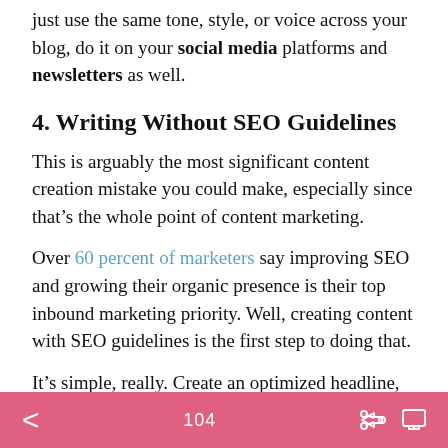just use the same tone, style, or voice across your blog, do it on your social media platforms and newsletters as well.
4. Writing Without SEO Guidelines
This is arguably the most significant content creation mistake you could make, especially since that’s the whole point of content marketing.
Over 60 percent of marketers say improving SEO and growing their organic presence is their top inbound marketing priority. Well, creating content with SEO guidelines is the first step to doing that.
It’s simple, really. Create an optimized headline, select a focus keyword, outline the keywords needed for user intent, and pick out the [icon] for research.
104